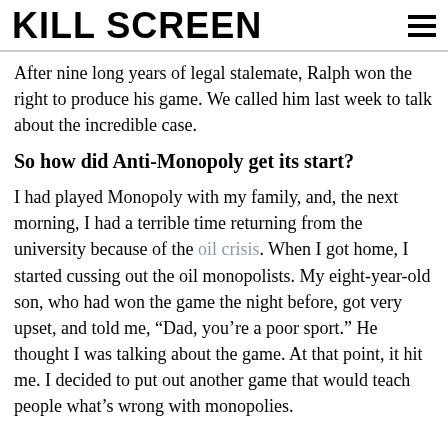KILL SCREEN
After nine long years of legal stalemate, Ralph won the right to produce his game. We called him last week to talk about the incredible case.
So how did Anti-Monopoly get its start?
I had played Monopoly with my family, and, the next morning, I had a terrible time returning from the university because of the oil crisis. When I got home, I started cussing out the oil monopolists. My eight-year-old son, who had won the game the night before, got very upset, and told me, “Dad, you’re a poor sport.” He thought I was talking about the game. At that point, it hit me. I decided to put out another game that would teach people what’s wrong with monopolies.